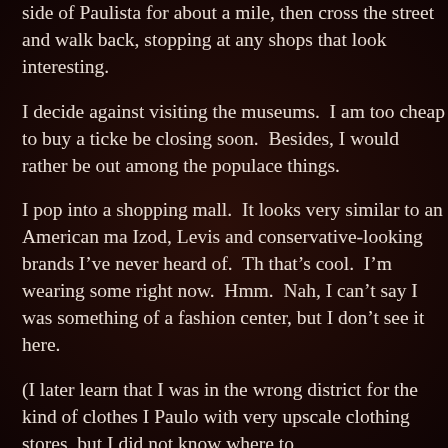side of Paulista for about a mile, then cross the street and walk back, stopping at any shops that look interesting.
I decide against visiting the museums. I am too cheap to buy a ticket, and they'd be closing soon. Besides, I would rather be out among the populace and seeing things.
I pop into a shopping mall. It looks very similar to an American mall, with shops like Izod, Levis and conservative-looking brands I've never heard of. There's a Tommy, that's cool. I'm wearing some right now. Hmm. Nah, I can't say I was hoping São Paulo was something of a fashion center, but I don't see it here.
(I later learn that I was in the wrong district for the kind of clothes I was looking at. Paulo with very upscale clothing stores, but I did not know where to go.)
I try at least three other shopping centers. They vary drastically in style from mall to "Third World." They are like dense beehives filled with hundreds of small shops, like malls. They kind of remind me of a crowded toy show where the dealers are crammed in.
The American-style malls have a store similar to Kay-Bee. For all I know maybe it is. Nothing special. Lots of superhero action figures and girl dolls.
At the third shopping center, a bazaar-style one, I find a little toy "shop" that is more with junk piled on top of junk. Something catches my eye. A Hallo but at least it tells me I might be getting warm. There has to be a mo